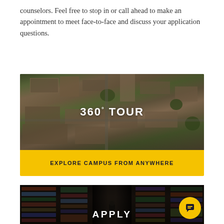counselors. Feel free to stop in or call ahead to make an appointment to meet face-to-face and discuss your application questions.
[Figure (photo): Aerial view of a university campus with brick buildings and trees, overlaid with bold white text '360° TOUR', and a yellow banner below reading 'EXPLORE CAMPUS FROM ANYWHERE']
[Figure (photo): Dark interior view of a library with tall bookshelves and a person standing in the aisle, overlaid with bold white text 'APPLY'. A yellow circular chat button is visible in the lower right.]